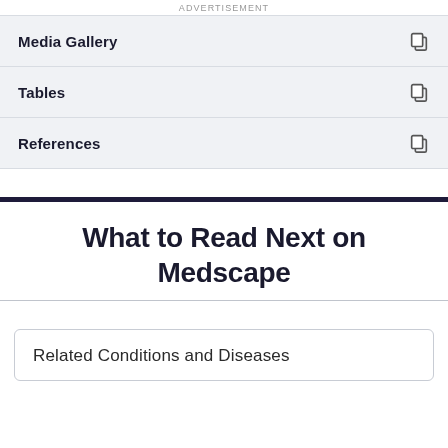ADVERTISEMENT
Media Gallery
Tables
References
What to Read Next on Medscape
Related Conditions and Diseases